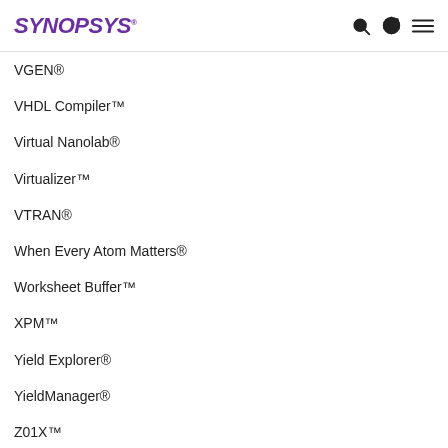SYNOPSYS
VGEN®
VHDL Compiler™
Virtual Nanolab®
Virtualizer™
VTRAN®
When Every Atom Matters®
Worksheet Buffer™
XPM™
Yield Explorer®
YieldManager®
Z01X™
Z Open™ (in Katalog and more)